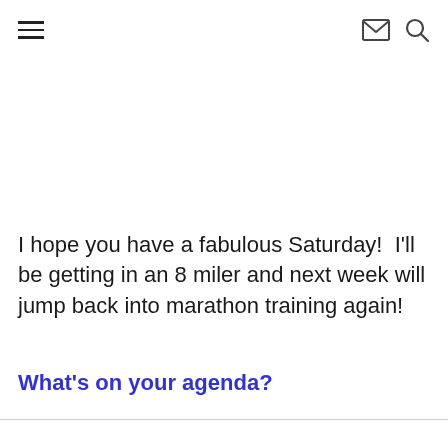[hamburger menu icon] [email icon] [search icon]
I hope you have a fabulous Saturday!  I'll be getting in an 8 miler and next week will jump back into marathon training again!
What's on your agenda?